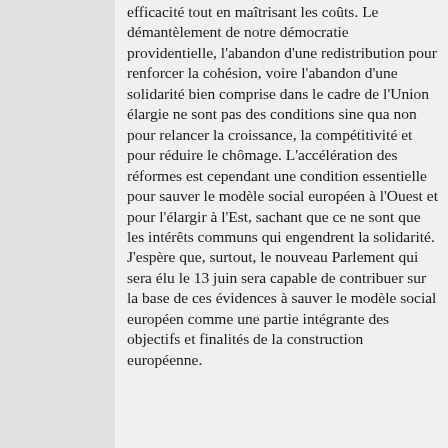efficacité tout en maîtrisant les coûts. Le démantèlement de notre démocratie providentielle, l'abandon d'une redistribution pour renforcer la cohésion, voire l'abandon d'une solidarité bien comprise dans le cadre de l'Union élargie ne sont pas des conditions sine qua non pour relancer la croissance, la compétitivité et pour réduire le chômage. L'accélération des réformes est cependant une condition essentielle pour sauver le modèle social européen à l'Ouest et pour l'élargir à l'Est, sachant que ce ne sont que les intérêts communs qui engendrent la solidarité. J'espère que, surtout, le nouveau Parlement qui sera élu le 13 juin sera capable de contribuer sur la base de ces évidences à sauver le modèle social européen comme une partie intégrante des objectifs et finalités de la construction européenne.